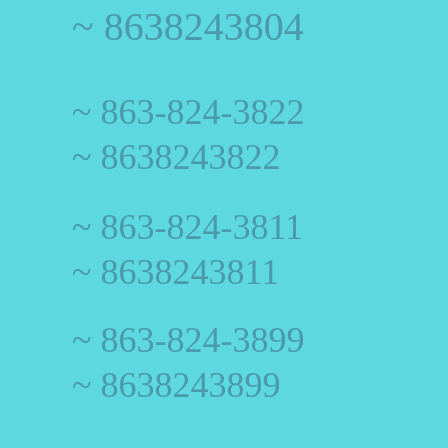~ 8638243804
~ 863-824-3822
~ 8638243822
~ 863-824-3811
~ 8638243811
~ 863-824-3899
~ 8638243899
~ 863-824-3839
~ 8638243839